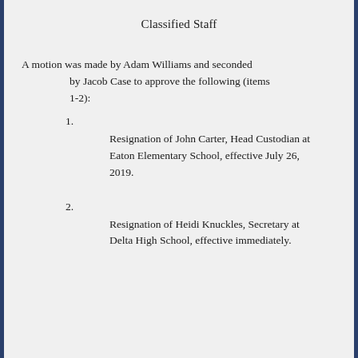Classified Staff
A motion was made by Adam Williams and seconded by Jacob Case to approve the following (items 1-2):
1.

Resignation of John Carter, Head Custodian at Eaton Elementary School, effective July 26, 2019.
2.

Resignation of Heidi Knuckles, Secretary at Delta High School, effective immediately.